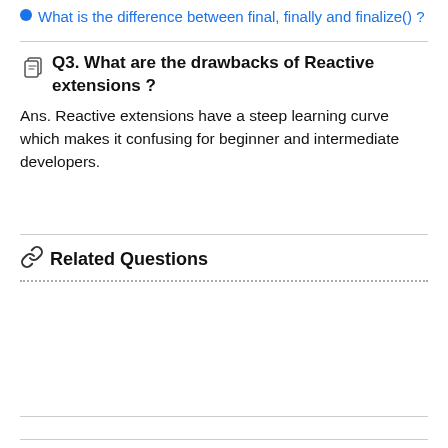What is the difference between final, finally and finalize() ?
Q3. What are the drawbacks of Reactive extensions ?
Ans. Reactive extensions have a steep learning curve which makes it confusing for beginner and intermediate developers.
Related Questions